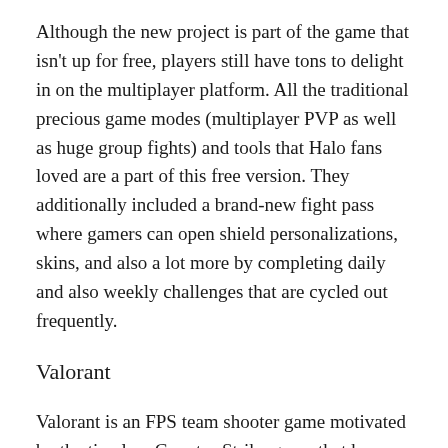Although the new project is part of the game that isn't up for free, players still have tons to delight in on the multiplayer platform. All the traditional precious game modes (multiplayer PVP as well as huge group fights) and tools that Halo fans loved are a part of this free version. They additionally included a brand-new fight pass where gamers can open shield personalizations, skins, and also a lot more by completing daily and also weekly challenges that are cycled out frequently.
Valorant
Valorant is an FPS team shooter game motivated by the timeless Counter-Strike game that has actually easily turned into one of one of the most preferred PC games today. It has turned into one of one of the most competitive as well as prominent PVP games in pc gaming competitors like Esports. Not only is this